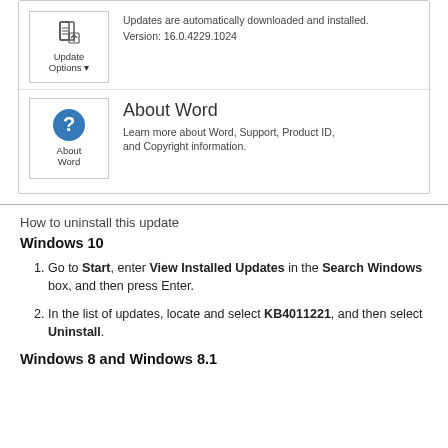[Figure (screenshot): Microsoft Word About page showing Update Options and About Word sections with icons, version number 16.0.4229.1024]
How to uninstall this update
Windows 10
Go to Start, enter View Installed Updates in the Search Windows box, and then press Enter.
In the list of updates, locate and select KB4011221, and then select Uninstall.
Windows 8 and Windows 8.1